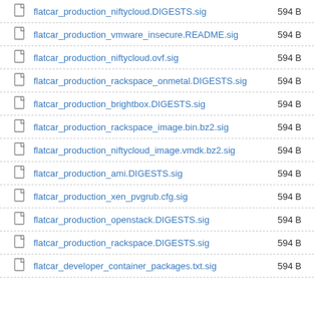flatcar_production_niftycloud.DIGESTS.sig  594 B
flatcar_production_vmware_insecure.README.sig  594 B
flatcar_production_niftycloud.ovf.sig  594 B
flatcar_production_rackspace_onmetal.DIGESTS.sig  594 B
flatcar_production_brightbox.DIGESTS.sig  594 B
flatcar_production_rackspace_image.bin.bz2.sig  594 B
flatcar_production_niftycloud_image.vmdk.bz2.sig  594 B
flatcar_production_ami.DIGESTS.sig  594 B
flatcar_production_xen_pvgrub.cfg.sig  594 B
flatcar_production_openstack.DIGESTS.sig  594 B
flatcar_production_rackspace.DIGESTS.sig  594 B
flatcar_developer_container_packages.txt.sig  594 B